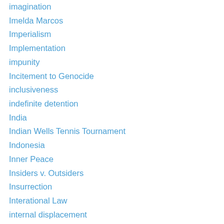imagination
Imelda Marcos
Imperialism
Implementation
impunity
Incitement to Genocide
inclusiveness
indefinite detention
India
Indian Wells Tennis Tournament
Indonesia
Inner Peace
Insiders v. Outsiders
Insurrection
Interational Law
internal displacement
Internation Law
International & Global Law
International Chaos
International Court of Justice